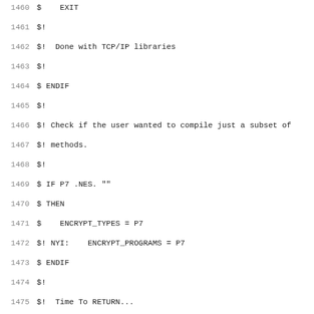Code listing lines 1460-1491, VMS/DCL script for OpenSSL build configuration